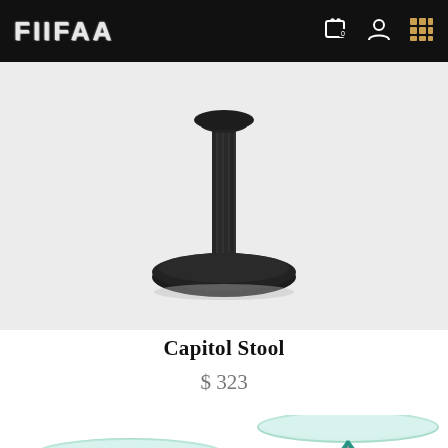FIIFAA
[Figure (photo): Capitol Stool product photo — a pedestal stool with dark matte black mushroom-shaped base and stem, shown from a low angle against a light grey background]
Capitol Stool
$ 323
[Figure (photo): Two glass-top side tables with hourglass-shaped bases made of interwoven teal and silver wire/threads, shown side by side, partially cropped at bottom of page]